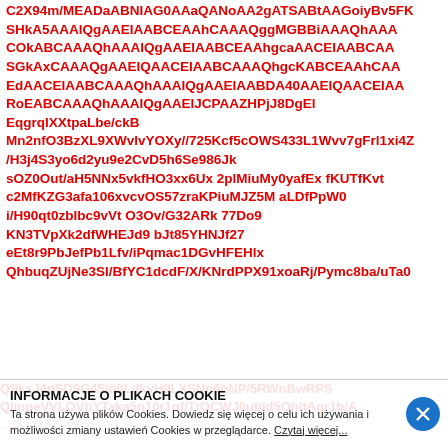C2X94m/MEADaABNIAG0AAaQANoAA2gATSABtAAGoiyBv5FK SHkA5AAAIQgAAEIAABCEAAhCAAAQggMGBBiAAAQhAA COkABCAAAQhAAAIQgAAEIAABCEAAhgcaAACEIAABCAA SGkAxCAAAQgAAEIQAACEIAABCAAAQhgcKABCEAAhCAA EdAACEIAABCAAAQhAAAIQgAAEIAABDA40AAEIQAACElAA RoEABCAAAQhAAAIQgAAEIJCPAAZHPjJ8DgEI EqgrqI XXtpaLbe/ckB Mn2nfO3BzXL9XWvlvYOXy//725Kcf5cOWS433L1Wvv7gFrl1xi4Z /H3j4S3yo6d2yu9e2CvD5h6Se986Jk sOZ0Out/aH5NNx5vkfHO3xx6Ux 2plMiuMy0yafEx fKUTfKvt c2MfKZG3afa106xvcvOS57zraKPiuMJZ5M aLDfPpW0 i/H90qt0zbIbc9vVt O3Ov/G32ARk 77Do9 KN3TVpXk2dfWHEJd9 bJt85YHNJf27 eEt8r9PbJefPb1Lfv/iPqmac1DGvHFEHlx QhbuqZUjNe3Sl/BfYC1dcdF/X/KNrdPPX91xoaRj/Pymc8ba/uTa0
INFORMACJE O PLIKACH COOKIE
Ta strona używa plików Cookies. Dowiedz się więcej o celu ich używania i możliwości zmiany ustawień Cookies w przeglądarce. Czytaj więcej...